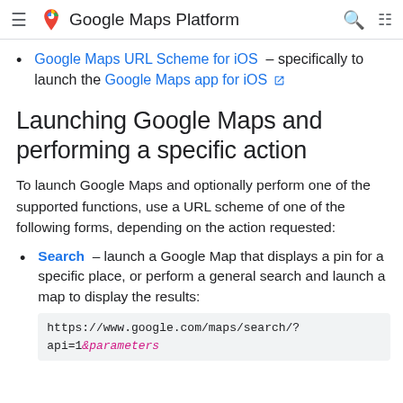Google Maps Platform
Google Maps URL Scheme for iOS – specifically to launch the Google Maps app for iOS
Launching Google Maps and performing a specific action
To launch Google Maps and optionally perform one of the supported functions, use a URL scheme of one of the following forms, depending on the action requested:
Search – launch a Google Map that displays a pin for a specific place, or perform a general search and launch a map to display the results: https://www.google.com/maps/search/?api=1&parameters